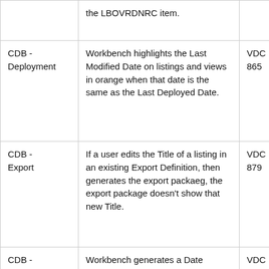| Component | Description | ID |
| --- | --- | --- |
|  | the LBOVRDNRC item. |  |
| CDB - Deployment | Workbench highlights the Last Modified Date on listings and views in orange when that date is the same as the Last Deployed Date. | VDO 865 |
| CDB - Export | If a user edits the Title of a listing in an existing Export Definition, then generates the export packaeg, the export package doesn't show that new Title. | VDO 879 |
| CDB - Import | Workbench generates a Date Applied value for the import Audit Log when the import of a package fails. | VDO 867 |